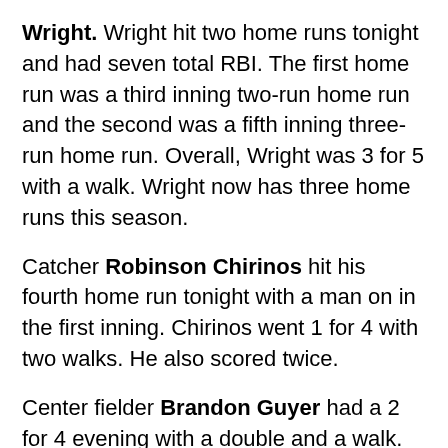Wright. Wright hit two home runs tonight and had seven total RBI. The first home run was a third inning two-run home run and the second was a fifth inning three-run home run. Overall, Wright was 3 for 5 with a walk. Wright now has three home runs this season.
Catcher Robinson Chirinos hit his fourth home run tonight with a man on in the first inning. Chirinos went 1 for 4 with two walks. He also scored twice.
Center fielder Brandon Guyer had a 2 for 4 evening with a double and a walk. Guyer scored three times and stole his seventh base of the year.
Oh yeah. Starlin Castro. He just went 3 for 4 with a double and a triple. Castro had three RBI and scored three times. Castro's now hitting .426 this season and is slugging .795